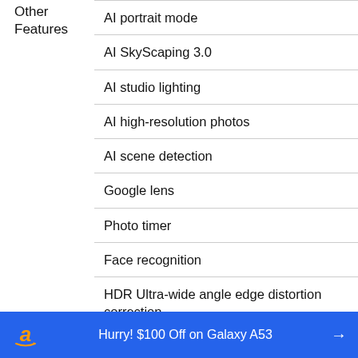Other Features
AI portrait mode
AI SkyScaping 3.0
AI studio lighting
AI high-resolution photos
AI scene detection
Google lens
Photo timer
Face recognition
HDR Ultra-wide angle edge distortion correction
Group photo face correction
Custom watermark
Hurry! $100 Off on Galaxy A53